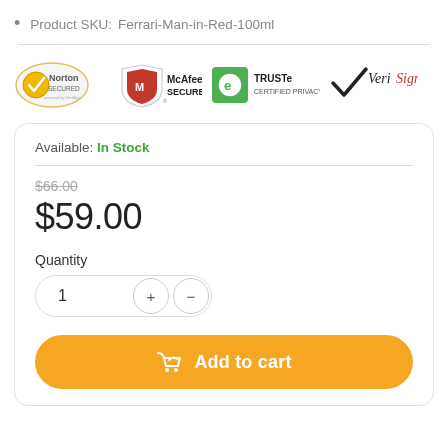Product SKU:  Ferrari-Man-in-Red-100ml
[Figure (logo): Trust badge logos: Norton Secured, McAfee Secure, TRUSTe Certified Privacy, VeriSign]
Available: In Stock
$66.00 (strikethrough original price)
$59.00
Quantity
1 + -
Add to cart